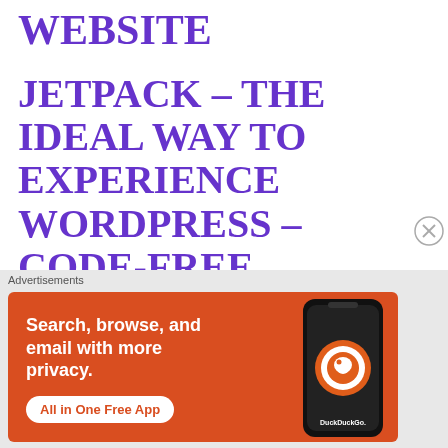WEBSITE
JETPACK – THE IDEAL WAY TO EXPERIENCE WORDPRESS – CODE-FREE CUSTOMIZATION
WOOCOMMERCE – THE
Advertisements
[Figure (screenshot): DuckDuckGo advertisement banner on orange background with text: Search, browse, and email with more privacy. All in One Free App. Shows a smartphone with the DuckDuckGo app and logo.]